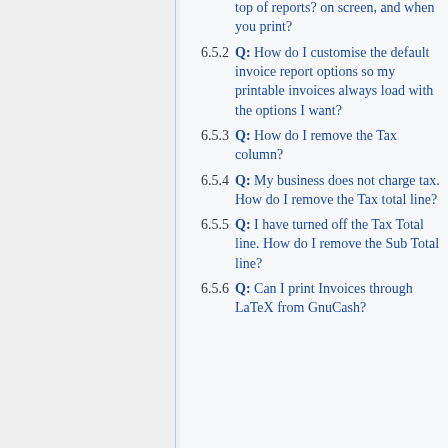6.5.2 Q: How do I customise the default invoice report options so my printable invoices always load with the options I want?
6.5.3 Q: How do I remove the Tax column?
6.5.4 Q: My business does not charge tax. How do I remove the Tax total line?
6.5.5 Q: I have turned off the Tax Total line. How do I remove the Sub Total line?
6.5.6 Q: Can I print Invoices through LaTeX from GnuCash?